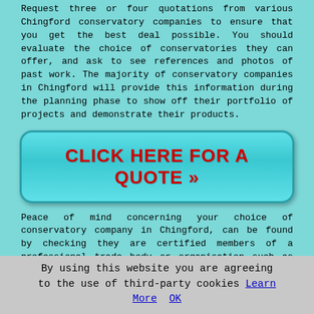Request three or four quotations from various Chingford conservatory companies to ensure that you get the best deal possible. You should evaluate the choice of conservatories they can offer, and ask to see references and photos of past work. The majority of conservatory companies in Chingford will provide this information during the planning phase to show off their portfolio of projects and demonstrate their products.
[Figure (other): A teal/cyan rounded button with red bold text reading 'CLICK HERE FOR A QUOTE >>']
Peace of mind concerning your choice of conservatory company in Chingford, can be found by checking they are certified members of a professional trade body or organisation such as the BSI (British Standards Institute), the GFF (Glass and Glazing Federation) or the Fair Trades Association.
If your Chingford conservatory installer is a member of the DGCOS (Double Glazing and Conservatory Ombudsman Scheme), this will give you protection if there are any issues after or during the build. For conservatories and in fact any
By using this website you are agreeing to the use of third-party cookies Learn More OK